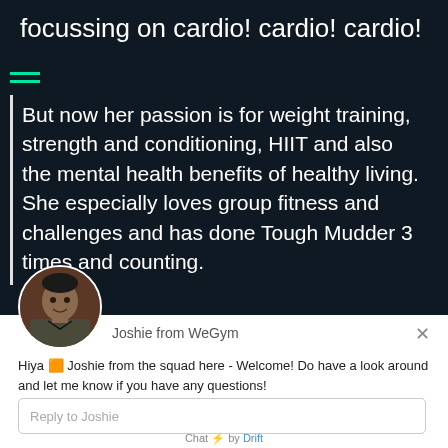focussing on cardio! cardio! cardio!
But now her passion is for weight training, strength and conditioning, HIIT and also the mental health benefits of healthy living. She especially loves group fitness and challenges and has done Tough Mudder 3 times and counting.
[Figure (photo): Avatar photo of a person (Joshie) in a circular crop]
Joshie from WeGym
Hiya 🎉 Joshie from the squad here - Welcome! Do have a look around and let me know if you have any questions!
Reply to Joshie
Chat ⚡ by Drift